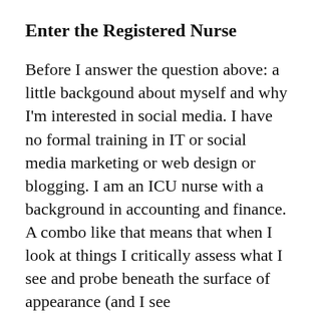Enter the Registered Nurse
Before I answer the question above: a little backgound about myself and why I'm interested in social media. I have no formal training in IT or social media marketing or web design or blogging. I am an ICU nurse with a background in accounting and finance. A combo like that means that when I look at things I critically assess what I see and probe beneath the surface of appearance (and I see